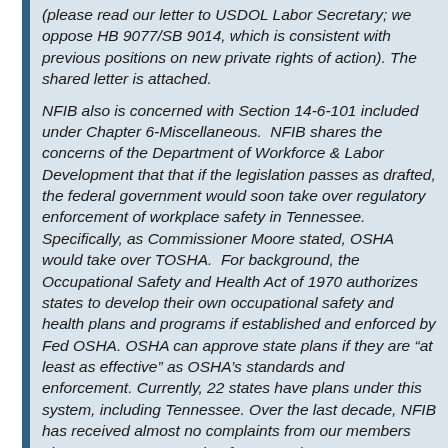(please read our letter to USDOL Labor Secretary; we oppose HB 9077/SB 9014, which is consistent with previous positions on new private rights of action). The shared letter is attached.
NFIB also is concerned with Section 14-6-101 in under Chapter 6-Miscellaneous. NFIB shares the Department of Workforce & Labor Development that if the legislation passes as drafted, the federal government would soon take over regulatory enforcement of workplace safety in Tennessee. Specifically, as Commissioner Mo stated, OSHA would take over TOSHA. For background, the Occupational Safety and Health Act of 1970 authorizes states to develop their own occupational safety and health plans and programs if established and enforced by Fed OSHA. OSHA can approve state plans if they are "at least as effective" as OSHA's standards and enforcement. Currently, 22 states have plans under this system, including Tennessee. Over the last decade, NFIB has received almost no complaints from our members about TOSHA overreach. If HB 9077/SB 9014 were to pass, NFIB is concerned many OSHA fines will double. A more adversarial system would result for Tennessee's